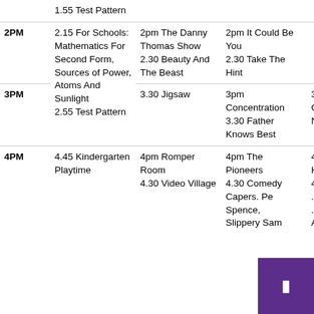| Time | Channel 1 | Channel 2 | Channel 3 | Channel 4 |
| --- | --- | --- | --- | --- |
|  | 1.55 Test Pattern |  |  |  |
| 2PM | 2.15 For Schools: Mathematics For Second Form, Sources of Power, Atoms And Sunlight
2.55 Test Pattern | 2pm The Danny Thomas Show
2.30 Beauty And The Beast | 2pm It Could Be You
2.30 Take The Hint |  |
| 3PM |  | 3.30 Jigsaw | 3pm Concentration
3.30 Father Knows Best | 3.30 Coo... New... |
| 4PM | 4.45 Kindergarten Playtime | 4pm Romper Room
4.30 Video Village | 4pm The Pioneers
4.30 Comedy Capers. Pe... Spence, Slippery Sam | 4pm Hill...
4.25 ...cho
.45 And |